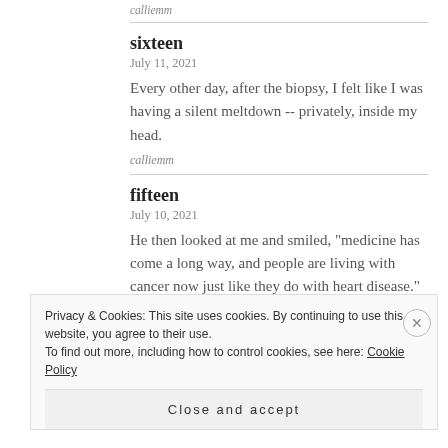calliemm
sixteen
July 11, 2021
Every other day, after the biopsy, I felt like I was having a silent meltdown -- privately, inside my head.
calliemm
fifteen
July 10, 2021
He then looked at me and smiled, "medicine has come a long way, and people are living with cancer now just like they do with heart disease."
calliemm
Privacy & Cookies: This site uses cookies. By continuing to use this website, you agree to their use.
To find out more, including how to control cookies, see here: Cookie Policy
Close and accept